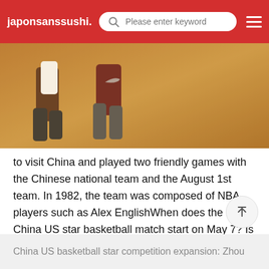japonsanssushi.
[Figure (photo): Basketball players running on court, close-up of legs and shoes, one wearing Nike shorts]
to visit China and played two friendly games with the Chinese national team and the August 1st team. In 1982, the team was composed of NBA players such as Alex EnglishWhen does the 2010 China US star basketball match start on May 7? Is there a live broadcast
What's the dateIs there a broadcast of Xinjiang Guanghui men's basketball match between China and the United States in Xi'an
No. Xi'an didn't broadcast this. If you want to watch it, go live. zhibo8.com
China US basketball star competition expansion: Zhou